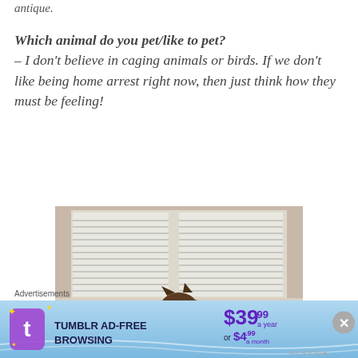antique.
Which animal do you pet/like to pet?
– I don't believe in caging animals or birds. If we don't like being home arrest right now, then just think how they must be feeling!
[Figure (photo): A cat sitting on a wooden floor near a window with white blinds, looking down at something.]
What Would...
Advertisements
[Figure (infographic): Tumblr Ad-Free Browsing advertisement banner showing $39.99 a year or $4.99 a month pricing.]